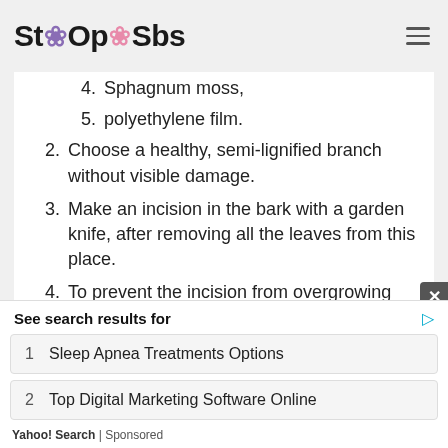StoOpSbs
4. Sphagnum moss,
5. polyethylene film.
2. Choose a healthy, semi-lignified branch without visible damage.
3. Make an incision in the bark with a garden knife, after removing all the leaves from this place.
4. To prevent the incision from overgrowing and staying slightly open, you need to slip a small piece of plastic into it.
See search results for
1  Sleep Apnea Treatments Options
2  Top Digital Marketing Software Online
Yahoo! Search | Sponsored